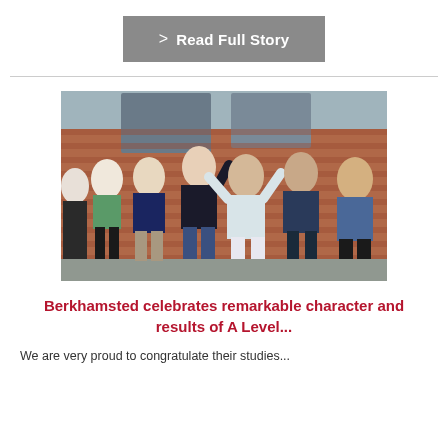> Read Full Story
[Figure (photo): Group of students celebrating A Level results, standing in front of a brick building, waving and raising fists in celebration]
Berkhamsted celebrates remarkable character and results of A Level...
We are very proud to congratulate their studies...